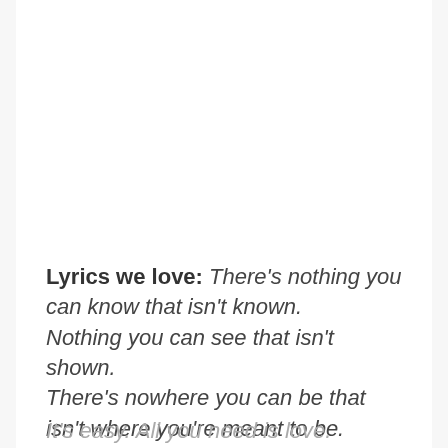Lyrics we love: There's nothing you can know that isn't known.
Nothing you can see that isn't shown.
There's nowhere you can be that isn't where you're meant to be.
It's easy. All you need is love.